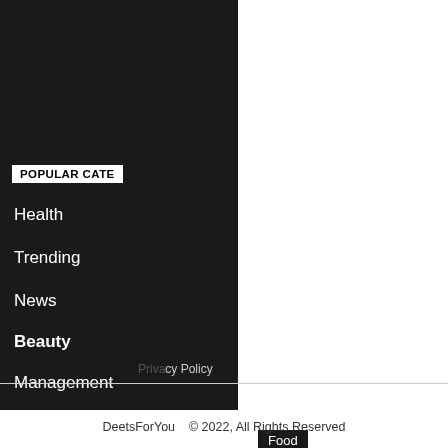POPULAR CATE
Health
Trending
News
Beauty
Management
Food
All About Knowle
Food
Mango Ice Cream | Homemade Mango Ice Cream Recipe
DeetsForyou  -  June 4, 2021
Mango Ice Cream | Homemade Mango Ice Cream Recipe: Summers means the season of mangoes. There are a lot of recipes that can be...
Privacy Policy
DeetsForYou   © 2022, All Rights Reserved